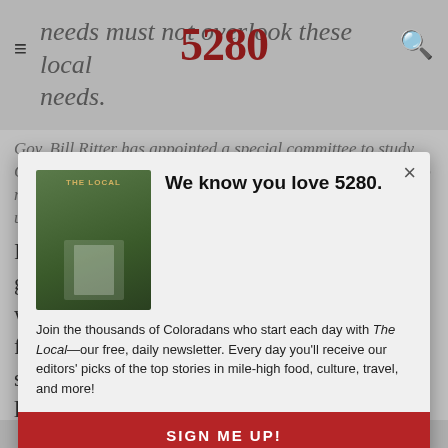needs must not overlook these local needs.
Gov. Bill Ritter has appointed a special committee to study Colorado's transportation needs and recommend solutions to next year's legislature. The Minneapolis tragedy only underscores how urgent that need is.
We know you love 5280.
Join the thousands of Coloradans who start each day with The Local—our free, daily newsletter. Every day you'll receive our editors' picks of the top stories in mile-high food, culture, travel, and more!
SIGN ME UP!
I'm certainly not in favor of out-of-control government spending (such as the spending we've seen under the Bush Administration, for example), but it's long past time that we stopped listening to anti-government zealots like Bruce. A healthy and